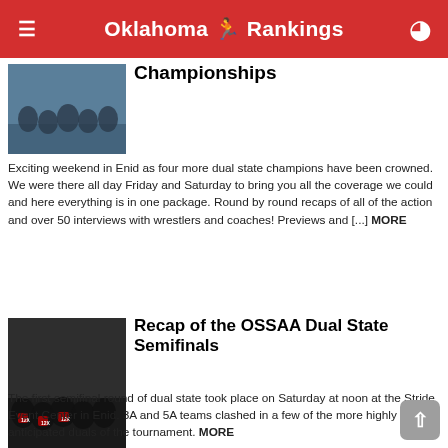Oklahoma 🤼 Rankings
Championships
Exciting weekend in Enid as four more dual state champions have been crowned. We were there all day Friday and Saturday to bring you all the coverage we could and here everything is in one package. Round by round recaps of all of the action and over 50 interviews with wrestlers and coaches! Previews and [...] MORE
Recap of the OSSAA Dual State Semifinals
The first semifinal round of dual state took place on Saturday at noon at the Stride Event Center in Enid. 3A and 5A teams clashed in a few of the more highly anticipated duals of the tournament. MORE